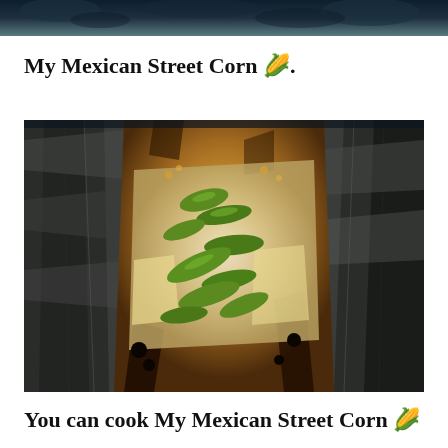My Mexican Street Corn 🌽.
[Figure (photo): Close-up photo of Mexican street corn wrapped in aluminum foil, showing grilled corn with melted cheese and green peppers/jalapeños on top, charred edges visible on the foil]
You can cook My Mexican Street Corn 🌽